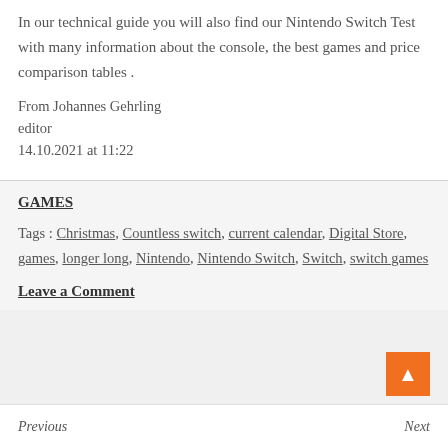In our technical guide you will also find our Nintendo Switch Test with many information about the console, the best games and price comparison tables .
From Johannes Gehrling
editor
14.10.2021 at 11:22
GAMES
Tags : Christmas, Countless switch, current calendar, Digital Store, games, longer long, Nintendo, Nintendo Switch, Switch, switch games
Leave a Comment
Previous ... Next